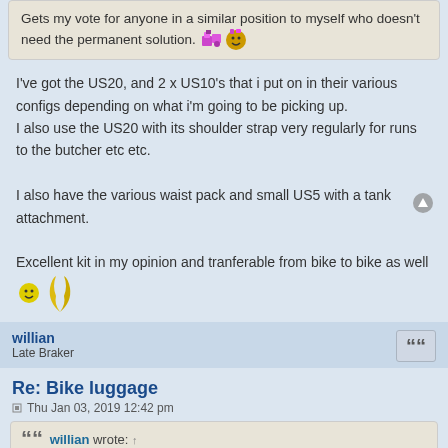Gets my vote for anyone in a similar position to myself who doesn't need the permanent solution. [emoji]
I've got the US20, and 2 x US10's that i put on in their various configs depending on what i'm going to be picking up.
I also use the US20 with its shoulder strap very regularly for runs to the butcher etc etc.

I also have the various waist pack and small US5 with a tank attachment.

Excellent kit in my opinion and tranferable from bike to bike as well [emoji]
willian
Late Braker
Re: Bike luggage
Thu Jan 03, 2019 12:42 pm
willian wrote: ↑
haiax0 wrote: ↑
I have been lucky enough to get a Kreiga 20ltr tail pack from sunty